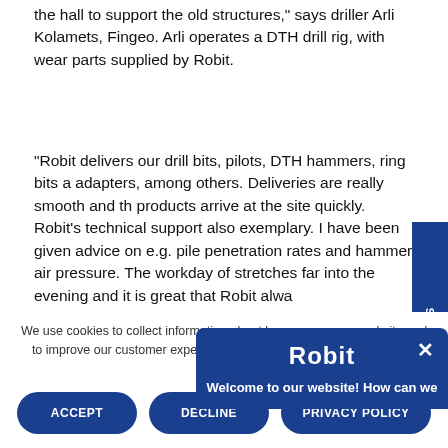the hall to support the old structures," says driller Arli Kolamets, Fingeo. Arli operates a DTH drill rig, with wear parts supplied by Robit.
“Robit delivers our drill bits, pilots, DTH hammers, ring bits and adapters, among others. Deliveries are really smooth and the products arrive at the site quickly. Robit’s technical support is also exemplary. I have been given advice on e.g. pile penetration rates and hammer air pressure. The workday often stretches far into the evening and it is great that Robit always picks up the phone. I appreciate Robit’s responsiveness and competence.
[Figure (screenshot): Robit chat popup overlay with logo text 'Robit' and subtitle 'Welcome to our website! How can we' on a dark blue background with a close (x) button]
We use cookies to collect information about how you use our website and to improve our customer experience. Read our Privacy Policy to learn more.
ACCEPT | DECLINE | PRIVACY POLICY